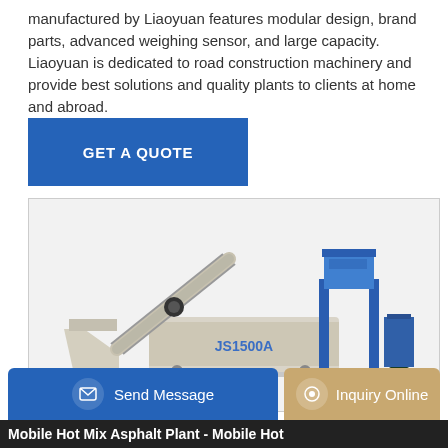manufactured by Liaoyuan features modular design, brand parts, advanced weighing sensor, and large capacity. Liaoyuan is dedicated to road construction machinery and provide best solutions and quality plants to clients at home and abroad.
[Figure (other): Blue button / call-to-action reading GET A QUOTE on blue background]
[Figure (photo): Photo of JS1500A concrete mixing machine — cream/white and blue industrial equipment with conveyor belt, mixing drum labeled JS1500A, hopper, and auxiliary units on a steel platform]
[Figure (other): Bottom navigation bar with two buttons: Send Message (blue) and Inquiry Online (tan/gold)]
Mobile Hot Mix Asphalt Plant - Mobile Hot